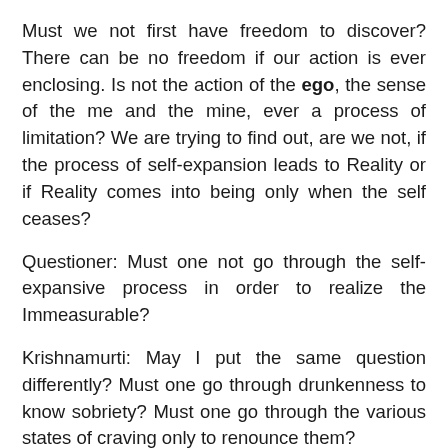Must we not first have freedom to discover? There can be no freedom if our action is ever enclosing. Is not the action of the ego, the sense of the me and the mine, ever a process of limitation? We are trying to find out, are we not, if the process of self-expansion leads to Reality or if Reality comes into being only when the self ceases?
Questioner: Must one not go through the self-expansive process in order to realize the Immeasurable?
Krishnamurti: May I put the same question differently? Must one go through drunkenness to know sobriety? Must one go through the various states of craving only to renounce them?
Questioner: Can one do anything with regard to this self-expansive process?
Krishnamurti: May I elaborate this question? We are, are we not, positively encouraging through many actions